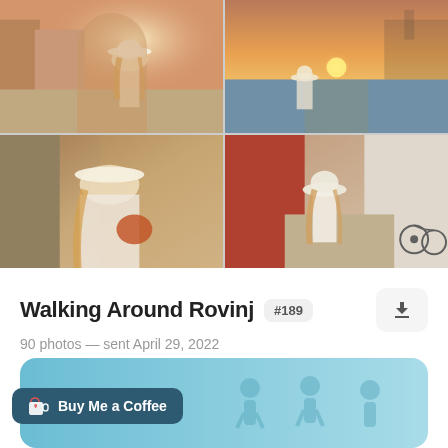[Figure (photo): 4-photo grid collage of a woman in white outfit and white wide-brim hat walking around Rovinj, Croatia. Top-left: woman from behind on sunny street. Top-right: woman looking at sunset over the sea with town silhouette. Bottom-left: close-up of woman in narrow alley. Bottom-right: woman walking on cobblestone street with bicycle nearby.]
Walking Around Rovinj
#189
90 photos — sent April 29, 2022
[Figure (screenshot): Bottom teal/light-blue card with walking figure silhouettes. Overlaid dark teal button: Buy Me a Coffee with coffee cup icon.]